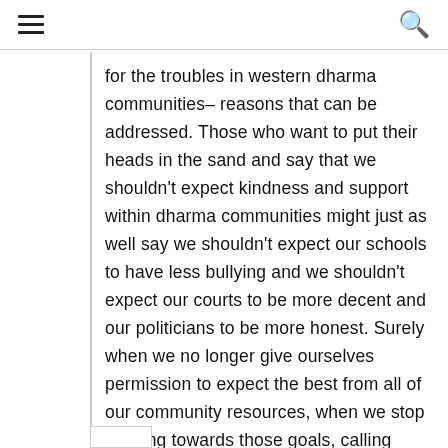for the troubles in western dharma communities– reasons that can be addressed. Those who want to put their heads in the sand and say that we shouldn't expect kindness and support within dharma communities might just as well say we shouldn't expect our schools to have less bullying and we shouldn't expect our courts to be more decent and our politicians to be more honest. Surely when we no longer give ourselves permission to expect the best from all of our community resources, when we stop working towards those goals, calling them impossible, then this is a very dangerous defeat indeed.